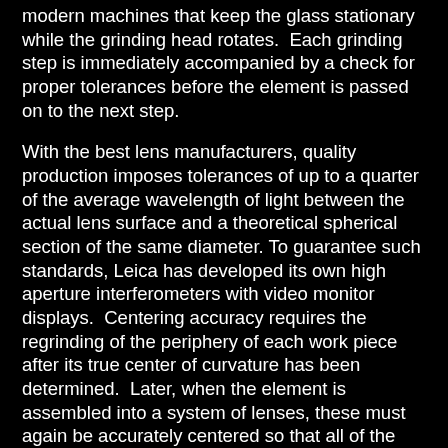modern machines that keep the glass stationary while the grinding head rotates. Each grinding step is immediately accompanied by a check for proper tolerances before the element is passed on to the next step.
With the best lens manufacturers, quality production imposes tolerances of up to a quarter of the average wavelength of light between the actual lens surface and a theoretical spherical section of the same diameter. To guarantee such standards, Leica has developed its own high aperture interferometers with video monitor displays. Centering accuracy requires the regrinding of the periphery of each work piece after its true center of curvature has been determined. Later, when the element is assembled into a system of lenses, these must again be accurately centered so that all of the elements have one common axis.
As of late, some manufacturers have offered lenses with aspheric surfaces which can greatly improve lens performance by virtually eliminating spherical